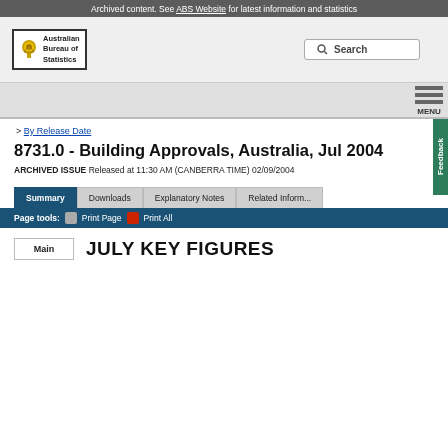Archived content. See ABS Website for latest information and statistics
[Figure (logo): Australian Bureau of Statistics logo with crest and text in a bordered box]
Search
MENU
Feedback
> By Release Date
8731.0 - Building Approvals, Australia, Jul 2004
ARCHIVED ISSUE Released at 11:30 AM (CANBERRA TIME) 02/09/2004
Summary | Downloads | Explanatory Notes | Related Inform...
Page tools: Print Page  Print All
JULY KEY FIGURES